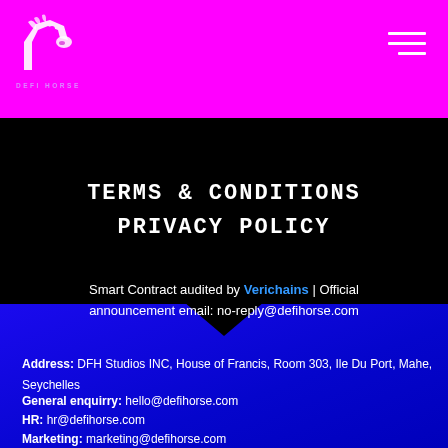DEFI HORSE logo and navigation
TERMS & CONDITIONS
PRIVACY POLICY
Smart Contract audited by Verichains | Official announcement email: no-reply@defihorse.com
Address: DFH Studios INC, House of Francis, Room 303, Ile Du Port, Mahe, Seychelles
General enquirry: hello@defihorse.com
HR: hr@defihorse.com
Marketing: marketing@defihorse.com